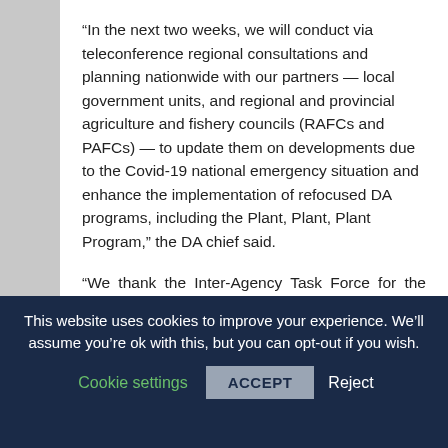“In the next two weeks, we will conduct via teleconference regional consultations and planning nationwide with our partners — local government units, and regional and provincial agriculture and fishery councils (RAFCs and PAFCs) — to update them on developments due to the Covid-19 national emergency situation and enhance the implementation of refocused DA programs, including the Plant, Plant, Plant Program,” the DA chief said.
“We thank the Inter-Agency Task Force for the Management of Emerging Infectious Diseases (IATF-EID) for approving our recommended P31-billion supplemental budget to fund the ‘Plant, Plant,
This website uses cookies to improve your experience. We’ll assume you’re ok with this, but you can opt-out if you wish.
Cookie settings  ACCEPT  Reject